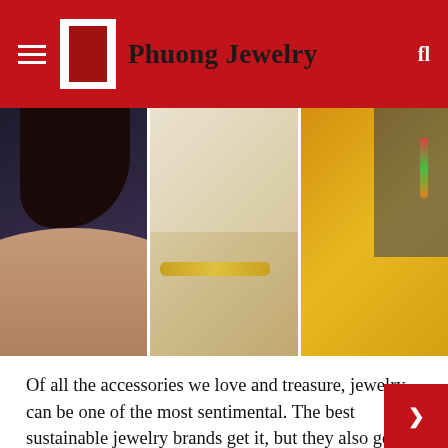Phuong Jewelry
[Figure (photo): Three jewelry product photos side by side: left shows a person wearing a gold pendant necklace against dark background, center shows a gold chain bracelet and layered necklace with coin pendant, right shows a person in yellow jacket wearing colorful earrings.]
Of all the accessories we love and treasure, jewelry can be one of the most sentimental. The best sustainable jewelry brands get it, but they also get that quality and beautiful design can go hand in hand with being kind to the planet.
We're all thinking more and more these days about how to protect our planet and where to shop – and buying pieces that have a long lifespan, like jewelry, is a great place to start if you want to feel good about an upcoming gift or treat – buy yourself